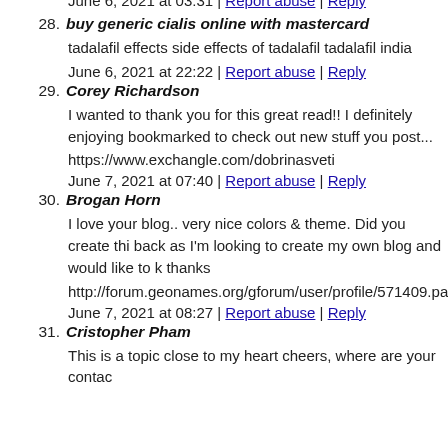June 6, 2021 at 03:31 | Report abuse | Reply
28. buy generic cialis online with mastercard
tadalafil effects side effects of tadalafil tadalafil india
June 6, 2021 at 22:22 | Report abuse | Reply
29. Corey Richardson
I wanted to thank you for this great read!! I definitely enjoying bookmarked to check out new stuff you post...
https://www.exchangle.com/dobrinasveti
June 7, 2021 at 07:40 | Report abuse | Reply
30. Brogan Horn
I love your blog.. very nice colors & theme. Did you create thi back as I'm looking to create my own blog and would like to k thanks
http://forum.geonames.org/gforum/user/profile/571409.page
June 7, 2021 at 08:27 | Report abuse | Reply
31. Cristopher Pham
This is a topic close to my heart cheers, where are your contac